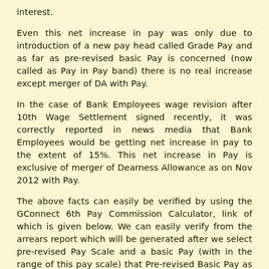interest.
Even this net increase in pay was only due to introduction of a new pay head called Grade Pay and as far as pre-revised basic Pay is concerned (now called as Pay in Pay band) there is no real increase except merger of DA with Pay.
In the case of Bank Employees wage revision after 10th Wage Settlement signed recently, it was correctly reported in news media that Bank Employees would be getting net increase in pay to the extent of 15%.  This net increase in Pay is exclusive of merger of Dearness Allowance as on Nov 2012 with Pay.
The above facts can easily be verified by using the GConnect 6th Pay Commission Calculator, link of which is given below. We can easily verify from the arrears report which will be generated after we select pre-revised Pay Scale and a basic Pay (with in the range of this pay scale) that Pre-revised Basic Pay as on 01.01.2006 and 6CPC revised Pay in Pay Band as on 01.01.2006 are one and the same.